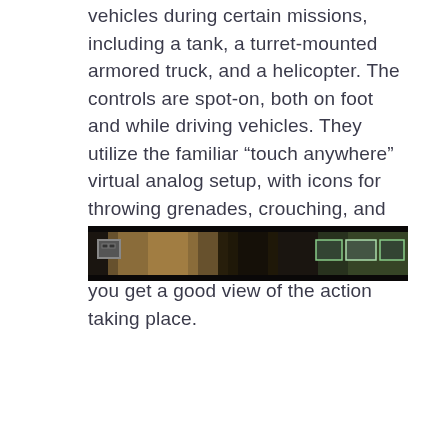vehicles during certain missions, including a tank, a turret-mounted armored truck, and a helicopter. The controls are spot-on, both on foot and while driving vehicles. They utilize the familiar “touch anywhere” virtual analog setup, with icons for throwing grenades, crouching, and aiming down your sights. It’s all very minimalist and unobtrusive, letting you get a good view of the action taking place.
[Figure (screenshot): A partial screenshot of a game interface showing a dark scene with a small icon on the left and game HUD icons on the right side in green.]